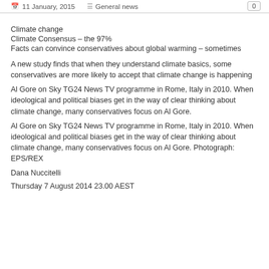11 January, 2015   General news   0
Climate change
Climate Consensus – the 97%
Facts can convince conservatives about global warming – sometimes
A new study finds that when they understand climate basics, some conservatives are more likely to accept that climate change is happening
Al Gore on Sky TG24 News TV programme in Rome, Italy in 2010. When ideological and political biases get in the way of clear thinking about climate change, many conservatives focus on Al Gore.
Al Gore on Sky TG24 News TV programme in Rome, Italy in 2010. When ideological and political biases get in the way of clear thinking about climate change, many conservatives focus on Al Gore. Photograph: EPS/REX
Dana Nuccitelli
Thursday 7 August 2014 23.00 AEST